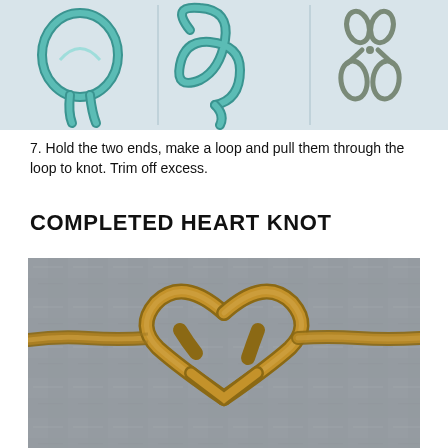[Figure (illustration): Three-step illustration showing rope loop formation and scissors for trimming, with teal/blue-green colored rope on light gray background.]
7. Hold the two ends, make a loop and pull them through the loop to knot. Trim off excess.
COMPLETED HEART KNOT
[Figure (photo): Photograph of a completed heart knot made from thick natural jute/hemp rope on a concrete gray surface. The rope forms a heart shape in the center with the rope extending horizontally to the left and right.]